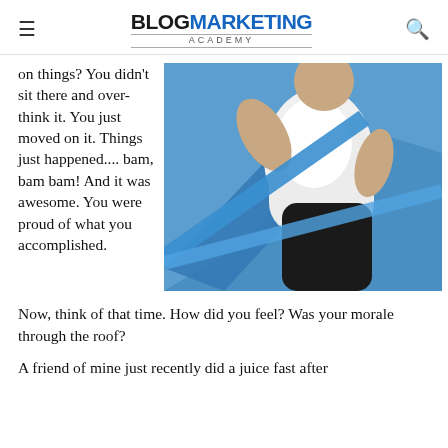≡  BLOGMARKETING ACADEMY  🔍
on things? You didn't sit there and over-think it. You just moved on it. Things just happened.... bam, bam bam! And it was awesome. You were proud of what you accomplished.
[Figure (photo): A person in a white t-shirt and black shorts jumping or leaping, holding a blue resistance band or hoop against a blue background]
Now, think of that time. How did you feel? Was your morale through the roof?
A friend of mine just recently did a juice fast after